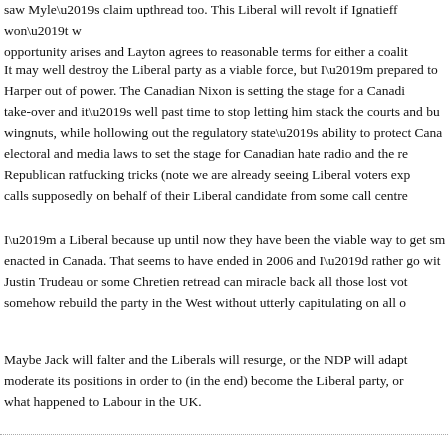saw Myle’s claim upthread too. This Liberal will revolt if Ignatieff won’t w opportunity arises and Layton agrees to reasonable terms for either a coalit
It may well destroy the Liberal party as a viable force, but I’m prepared to Harper out of power. The Canadian Nixon is setting the stage for a Canadi take-over and it’s well past time to stop letting him stack the courts and bu wingnuts, while hollowing out the regulatory state’s ability to protect Cana electoral and media laws to set the stage for Canadian hate radio and the re Republican ratfucking tricks (note we are already seeing Liberal voters exp calls supposedly on behalf of their Liberal candidate from some call centre
I’m a Liberal because up until now they have been the viable way to get sm enacted in Canada. That seems to have ended in 2006 and I’d rather go wit Justin Trudeau or some Chretien retread can miracle back all those lost vot somehow rebuild the party in the West without utterly capitulating on all o
Maybe Jack will falter and the Liberals will resurge, or the NDP will adapt moderate its positions in order to (in the end) become the Liberal party, or what happened to Labour in the UK.